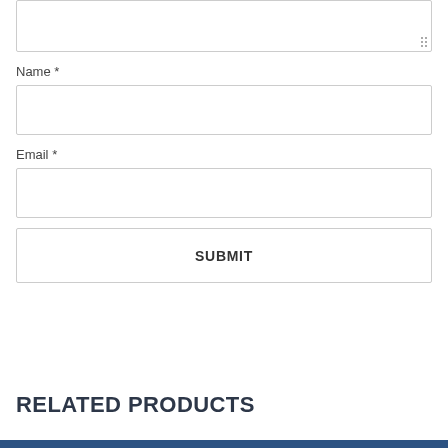[Figure (screenshot): A web form with a textarea (partially visible at top), Name field, Email field, and a SUBMIT button]
Name *
Email *
SUBMIT
RELATED PRODUCTS